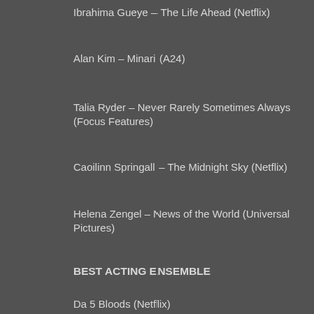Ibrahima Gueye – The Life Ahead (Netflix)
Alan Kim – Minari (A24)
Talia Ryder – Never Rarely Sometimes Always (Focus Features)
Caoilinn Springall – The Midnight Sky (Netflix)
Helena Zengel – News of the World (Universal Pictures)
BEST ACTING ENSEMBLE
Da 5 Bloods (Netflix)
Judas and the Black Messiah (Warner Bros.)
Ma Rainey's Black Bottom (Netflix)
Minari (A24)
One Night in Miami (Amazon Studios)